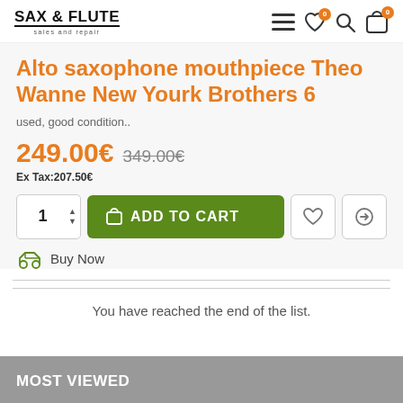SAX & FLUTE sales and repair
Alto saxophone mouthpiece Theo Wanne New Yourk Brothers 6
used, good condition..
249.00€  349.00€
Ex Tax:207.50€
1  ADD TO CART  Buy Now
You have reached the end of the list.
MOST VIEWED